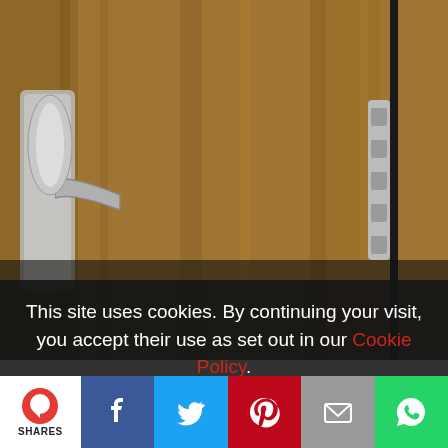[Figure (photo): Close-up photo of a wooden door with a silver/chrome door handle on the left and a door hinge mechanism on the right edge, shot from close range showing wood grain texture.]
This site uses cookies. By continuing your visit, you accept their use as set out in our Cookie Policy.
[Figure (infographic): Social sharing bar with comment, Facebook, Twitter, Pinterest, Email, and WhatsApp buttons. Shows SHARES label under comment icon.]